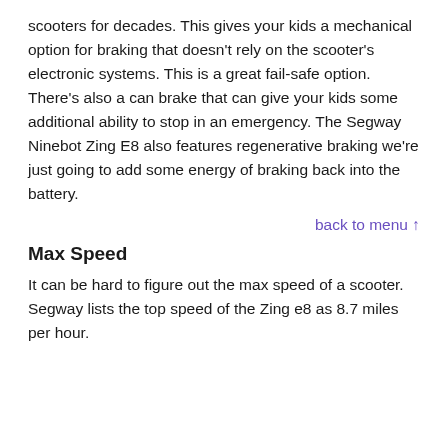scooters for decades. This gives your kids a mechanical option for braking that doesn't rely on the scooter's electronic systems. This is a great fail-safe option. There's also a can brake that can give your kids some additional ability to stop in an emergency. The Segway Ninebot Zing E8 also features regenerative braking we're just going to add some energy of braking back into the battery.
back to menu ↑
Max Speed
It can be hard to figure out the max speed of a scooter. Segway lists the top speed of the Zing e8 as 8.7 miles per hour.